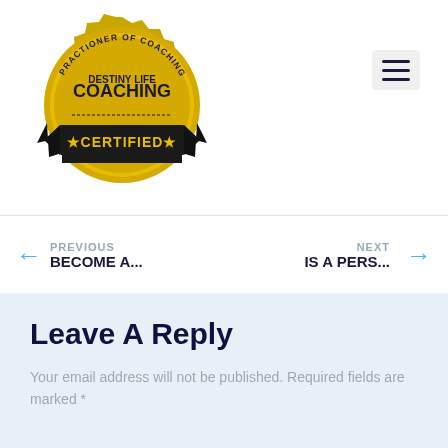[Figure (logo): Destiny Life Coaching certified practitioner of coaching excellence gold seal badge with black ribbon banner]
[Figure (other): Hamburger menu icon (three horizontal lines) in a light gray rounded rectangle]
← PREVIOUS BECOME A...
NEXT IS A PERS... →
Leave A Reply
Your email address will not be published. Required fields are marked *